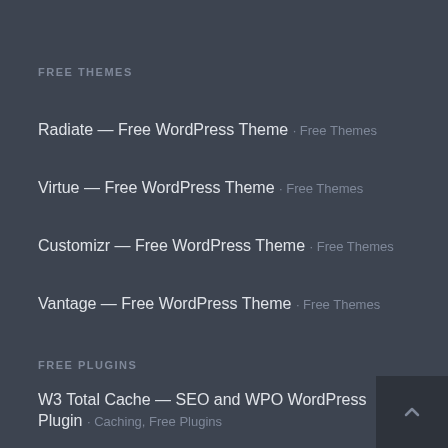FREE THEMES
Radiate — Free WordPress Theme · Free Themes
Virtue — Free WordPress Theme · Free Themes
Customizr — Free WordPress Theme · Free Themes
Vantage — Free WordPress Theme · Free Themes
FREE PLUGINS
W3 Total Cache — SEO and WPO WordPress Plugin · Caching, Free Plugins